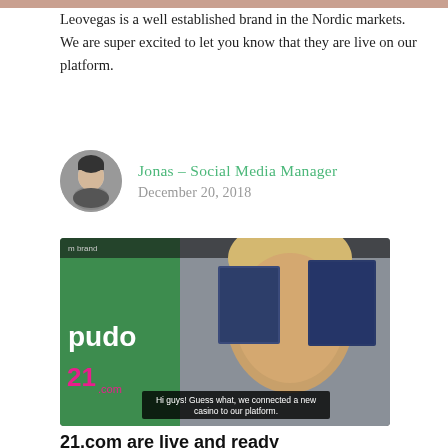Leovegas is a well established brand in the Nordic markets. We are super excited to let you know that they are live on our platform.
Jonas – Social Media Manager
December 20, 2018
[Figure (photo): Video thumbnail showing a smiling young man with blond hair, green background with 'pudo' logo and '21.com' brand logo, stamps in background, subtitle text 'Hi guys! Guess what, we connected a new casino to our platform.']
21.com are live and ready
We are here again with new and exciting news for